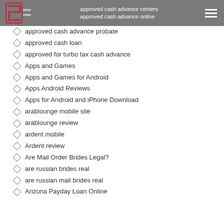approved cash advance centers | approved cash advance online
approved cash advance probate
approved cash loan
approved for turbo tax cash advance
Apps and Games
Apps and Games for Android
Apps Android Reviews
Apps for Android and iPhone Download
arablounge mobile site
arablounge review
ardent mobile
Ardent review
Are Mail Order Brides Legal?
are russian brides real
are russian mail brides real
Arizona Payday Loan Online